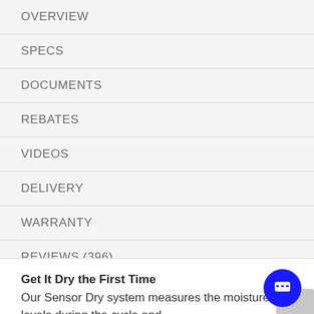OVERVIEW
SPECS
DOCUMENTS
REBATES
VIDEOS
DELIVERY
WARRANTY
REVIEWS (396)
Get It Dry the First Time
Our Sensor Dry system measures the moisture levels during the cycle and